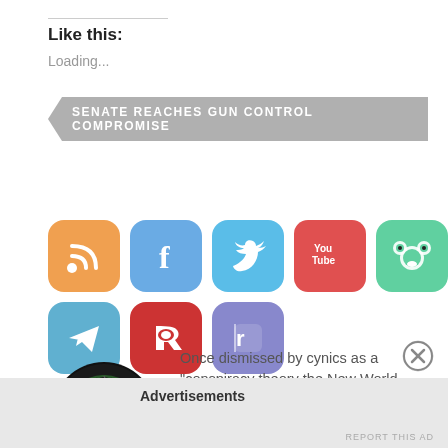Like this:
Loading...
SENATE REACHES GUN CONTROL COMPROMISE
[Figure (infographic): Row of social media icon buttons: RSS (orange), Facebook (blue), Twitter (light blue), YouTube (red), Frog/Gab (green), Telegram (blue), Riposte (red), Rumble (purple)]
[Figure (logo): NWO Report circular logo with cracked globe and red text]
Once dismissed by cynics as a "conspiracy theory the New World Order is rapidly becoming a reality. We look at its origins, how it operates and how it affects the lives of
Advertisements